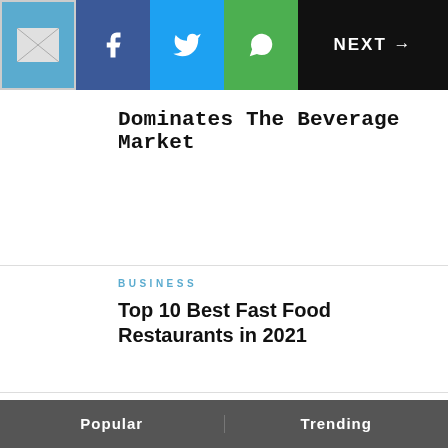NEXT →
Dominates The Beverage Market
BUSINESS
Top 10 Best Fast Food Restaurants in 2021
BUSINESS
Top 10 Worst Restaurants Ever
Popular  Trending